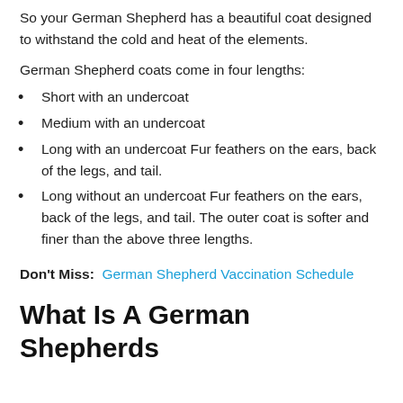So your German Shepherd has a beautiful coat designed to withstand the cold and heat of the elements.
German Shepherd coats come in four lengths:
Short with an undercoat
Medium with an undercoat
Long with an undercoat Fur feathers on the ears, back of the legs, and tail.
Long without an undercoat Fur feathers on the ears, back of the legs, and tail. The outer coat is softer and finer than the above three lengths.
Don't Miss: German Shepherd Vaccination Schedule
What Is A German Shepherds